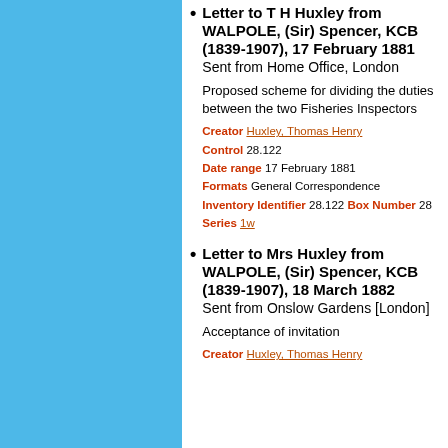Letter to T H Huxley from WALPOLE, (Sir) Spencer, KCB (1839-1907), 17 February 1881
Sent from Home Office, London

Proposed scheme for dividing the duties between the two Fisheries Inspectors

Creator Huxley, Thomas Henry Control 28.122 Date range 17 February 1881 Formats General Correspondence Inventory Identifier 28.122 Box Number 28 Series 1w
Letter to Mrs Huxley from WALPOLE, (Sir) Spencer, KCB (1839-1907), 18 March 1882
Sent from Onslow Gardens [London]

Acceptance of invitation

Creator Huxley, Thomas Henry